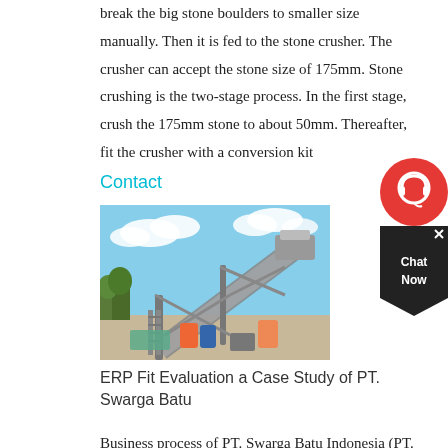break the big stone boulders to smaller size manually. Then it is fed to the stone crusher. The crusher can accept the stone size of 175mm. Stone crushing is the two-stage process. In the first stage, crush the 175mm stone to about 50mm. Thereafter, fit the crusher with a conversion kit
Contact
[Figure (photo): Industrial stone crusher conveyor belt equipment and machinery at an outdoor facility under a blue sky with clouds.]
ERP Fit Evaluation a Case Study of PT. Swarga Batu
Business process of PT. Swarga Batu Indonesia (PT. SBI), a stone crusher company, consists of 4 main processes including...